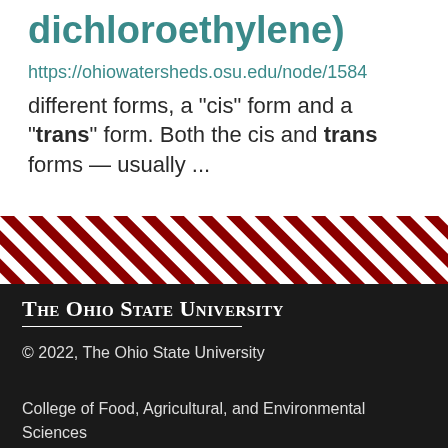dichloroethylene)
https://ohiowatersheds.osu.edu/node/1584
different forms, a "cis" form and a "trans" form. Both the cis and trans forms — usually ...
[Figure (illustration): Diagonal red and white stripe decorative band]
The Ohio State University
© 2022, The Ohio State University
College of Food, Agricultural, and Environmental Sciences
Integrated Pest Management